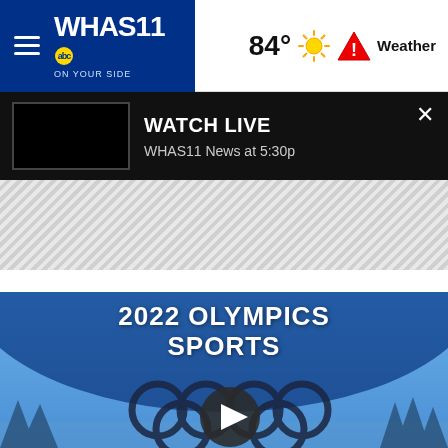[Figure (logo): WHAS11 ABC 'On Your Side' TV station logo in blue header with hamburger menu]
84° Weather
[Figure (screenshot): Watch Live panel showing black video thumbnail and text 'WATCH LIVE / WHAS11 News at 5:30p' with X close button]
[Figure (other): Diagonal striped advertisement placeholder area]
[Figure (photo): 2022 Olympics Sports section with Olympic rings, play button, and winter scenery background. Title reads '2022 OLYMPICS SPORTS']